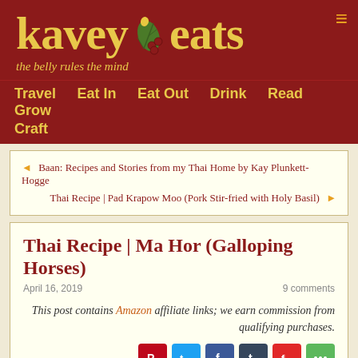[Figure (logo): Kavey Eats logo on dark red background with yellow serif text and decorative leaf/berry illustration]
Travel  Eat In  Eat Out  Drink  Read  Grow  Craft
◄ Baan: Recipes and Stories from my Thai Home by Kay Plunkett-Hogge
Thai Recipe | Pad Krapow Moo (Pork Stir-fried with Holy Basil) ►
Thai Recipe | Ma Hor (Galloping Horses)
April 16, 2019    9 comments
This post contains Amazon affiliate links; we earn commission from qualifying purchases.
[Figure (infographic): Social sharing icons row: Pinterest, Twitter, Facebook, Tumblr, Flipboard, More]